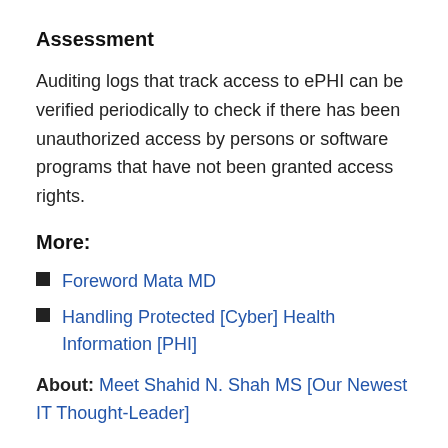Assessment
Auditing logs that track access to ePHI can be verified periodically to check if there has been unauthorized access by persons or software programs that have not been granted access rights.
More:
Foreword Mata MD
Handling Protected [Cyber] Health Information [PHI]
About: Meet Shahid N. Shah MS [Our Newest IT Thought-Leader]
Conclusion
Your thoughts and comments on this ME-P are